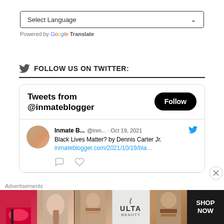[Figure (screenshot): Language selector dropdown widget with 'Select Language' placeholder and a chevron arrow, followed by 'Powered by Google Translate' text]
FOLLOW US ON TWITTER:
[Figure (screenshot): Embedded Twitter widget showing 'Tweets from @inmateblogger' header with Follow button, and a tweet from Inmate B... @inm... Oct 19, 2021: 'Black Lives Matter? by Dennis Carter Jr. inmateblogger.com/2021/10/19/bla...' with reply and like icons]
Advertisements
[Figure (screenshot): Ulta Beauty advertisement banner showing makeup product images and 'SHOP NOW' call to action]